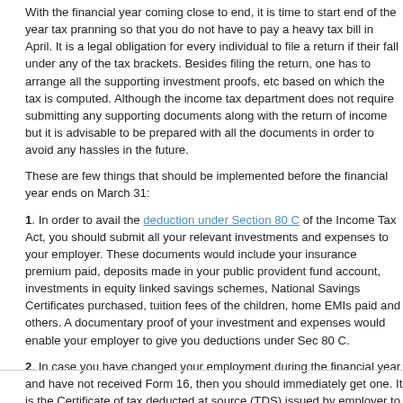With the financial year coming close to end, it is time to start end of the year tax planning so that you do not have to pay a heavy tax bill in April. It is a legal obligation for every individual to file a return if their fall under any of the tax brackets. Besides filing the return, one has to arrange all the supporting investment proofs, etc based on which the tax is computed. Although the income tax department does not require submitting any supporting documents along with the return of income but it is advisable to be prepared with all the documents in order to avoid any hassles in the future.
These are few things that should be implemented before the financial year ends on March 31:
1. In order to avail the deduction under Section 80 C of the Income Tax Act, you should submit all your relevant investments and expenses to your employer. These documents would include your insurance premium paid, deposits made in your public provident fund account, investments in equity linked savings schemes, National Savings Certificates purchased, tuition fees of the children, home EMIs paid and others. A documentary proof of your investment and expenses would enable your employer to give you deductions under Sec 80 C.
2. In case you have changed your employment during the financial year and have not received Form 16, then you should immediately get one. It is the Certificate of tax deducted at source (TDS) issued by employer to the employees in respect of salary paid and tax deducted during for the financial year ended March 31st.
3. Make sure you have collected all your bank statements and Tax Deducted at Source (TDS) certificates from your bank. This will enable you to evaluate the interest income on your bank deposits and claim TDS for the balance amount.